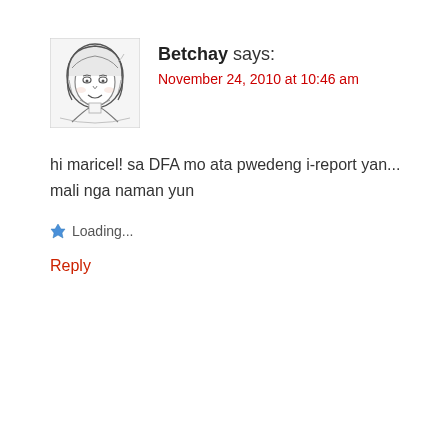[Figure (illustration): Cartoon avatar sketch of a woman with short hair, line drawing style in black and white]
Betchay says:
November 24, 2010 at 10:46 am
hi maricel! sa DFA mo ata pwedeng i-report yan... mali nga naman yun
Loading...
Reply